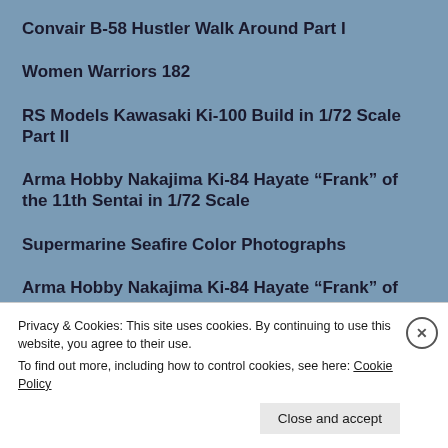Convair B-58 Hustler Walk Around Part I
Women Warriors 182
RS Models Kawasaki Ki-100 Build in 1/72 Scale Part II
Arma Hobby Nakajima Ki-84 Hayate “Frank” of the 11th Sentai in 1/72 Scale
Supermarine Seafire Color Photographs
Arma Hobby Nakajima Ki-84 Hayate “Frank” of the 104th Sentai in 1/72 Scale
Privacy & Cookies: This site uses cookies. By continuing to use this website, you agree to their use.
To find out more, including how to control cookies, see here: Cookie Policy
Close and accept